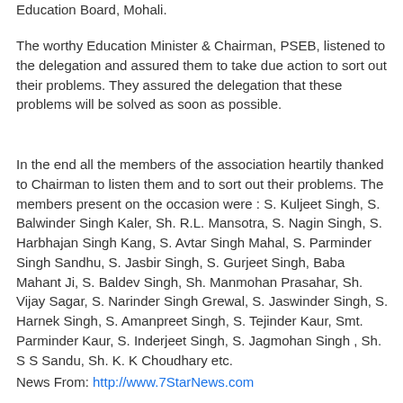Education Board, Mohali.
The worthy Education Minister & Chairman, PSEB, listened to the delegation and assured them to take due action to sort out their problems. They assured the delegation that these problems will be solved as soon as possible.
In the end all the members of the association heartily thanked to Chairman to listen them and to sort out their problems. The members present on the occasion were : S. Kuljeet Singh, S. Balwinder Singh Kaler, Sh. R.L. Mansotra, S. Nagin Singh, S. Harbhajan Singh Kang, S. Avtar Singh Mahal, S. Parminder Singh Sandhu, S. Jasbir Singh, S. Gurjeet Singh, Baba Mahant Ji, S. Baldev Singh, Sh. Manmohan Prasahar, Sh. Vijay Sagar, S. Narinder Singh Grewal, S. Jaswinder Singh, S. Harnek Singh, S. Amanpreet Singh, S. Tejinder Kaur, Smt. Parminder Kaur, S. Inderjeet Singh, S. Jagmohan Singh , Sh. S S Sandu, Sh. K. K Choudhary etc.
News From: http://www.7StarNews.com